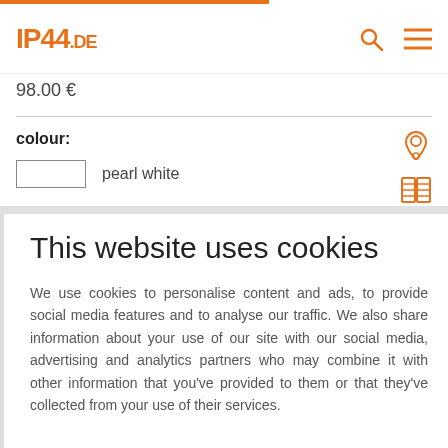IP44.DE
98.00 €
colour:
pearl white
This website uses cookies
We use cookies to personalise content and ads, to provide social media features and to analyse our traffic. We also share information about your use of our site with our social media, advertising and analytics partners who may combine it with other information that you've provided to them or that they've collected from your use of their services.